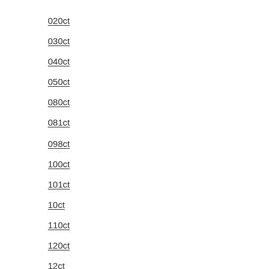020ct
030ct
040ct
050ct
080ct
081ct
098ct
100ct
101ct
10ct
110ct
120ct
12ct
130ct